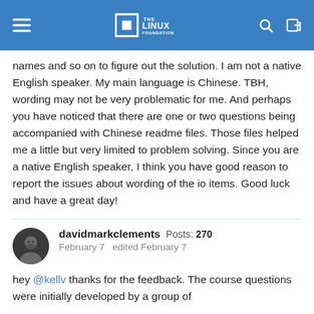The Linux Foundation
names and so on to figure out the solution. I am not a native English speaker. My main language is Chinese. TBH, wording may not be very problematic for me. And perhaps you have noticed that there are one or two questions being accompanied with Chinese readme files. Those files helped me a little but very limited to problem solving. Since you are a native English speaker, I think you have good reason to report the issues about wording of the io items. Good luck and have a great day!
davidmarkclements  Posts: 270
February 7   edited February 7
hey @kellv thanks for the feedback. The course questions were initially developed by a group of